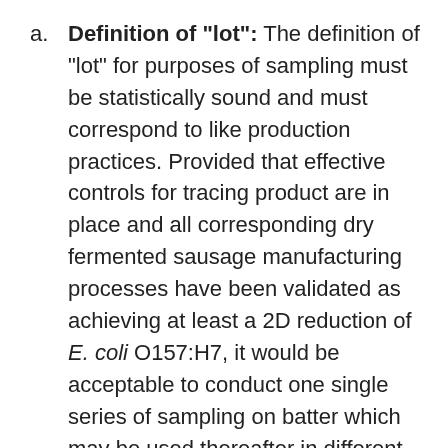a. Definition of "lot": The definition of "lot" for purposes of sampling must be statistically sound and must correspond to like production practices. Provided that effective controls for tracing product are in place and all corresponding dry fermented sausage manufacturing processes have been validated as achieving at least a 2D reduction of E. coli O157:H7, it would be acceptable to conduct one single series of sampling on batter which may be used thereafter in different sausages.